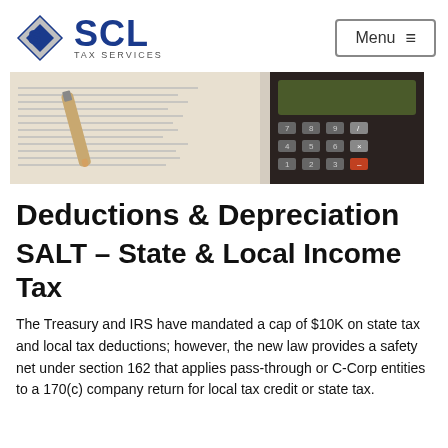SCL TAX SERVICES — Menu
[Figure (photo): Hero banner photo showing a calculator and tax documents with financial figures]
Deductions & Depreciation
SALT – State & Local Income Tax
The Treasury and IRS have mandated a cap of $10K on state tax and local tax deductions; however, the new law provides a safety net under section 162 that applies pass-through or C-Corp entities to a 170(c) company return for local tax credit or state tax.